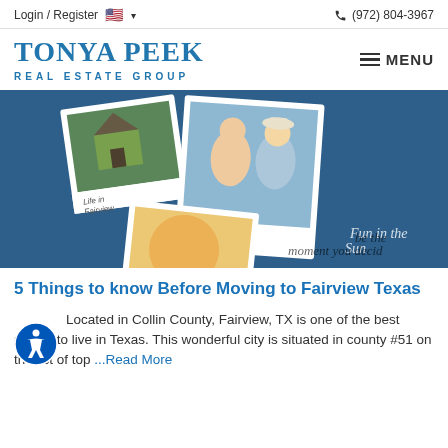Login / Register  🇺🇸 ▾    📞 (972) 804-3967
[Figure (logo): Tonya Peek Real Estate Group logo with MENU button]
[Figure (photo): Collage of polaroid-style photos on blue background showing children, a house, and a family. Text overlays: 'Life in Fairview', 'Fun in the Sun', 'be the moment you decid']
5 Things to know Before Moving to Fairview Texas
Located in Collin County, Fairview, TX is one of the best places to live in Texas. This wonderful city is situated in county #51 on the list of top ...Read More